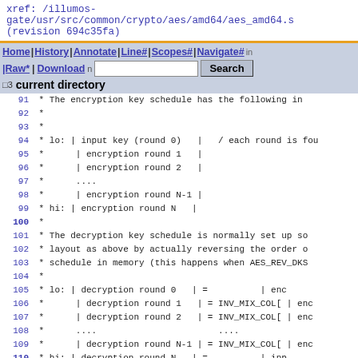xref: /illumos-gate/usr/src/common/crypto/aes/amd64/aes_amd64.s (revision 694c35fa)
Home | History | Annotate | Line# | Scopes# | Navigate# | Raw | Download  [search box] Search   current directory
91  * The encryption key schedule has the following in
92  *
93  *
94  * lo: | input key (round 0)   |   / each round is fou
95  *      | encryption round 1   |
96  *      | encryption round 2   |
97  *      ....
98  *      | encryption round N-1 |
99  * hi: | encryption round N   |
100 *
101 * The decryption key schedule is normally set up so
102 * layout as above by actually reversing the order o
103 * schedule in memory (this happens when AES_REV_DKS
104 *
105 * lo: | decryption round 0   | =         | enc
106 *      | decryption round 1   | = INV_MIX_COL[ | enc
107 *      | decryption round 2   | = INV_MIX_COL[ | enc
108 *      ....                       ....
109 *      | decryption round N-1 | = INV_MIX_COL[ | enc
110 * hi: | decryption round N   | =         | inp
111 *
112 * with rounds except the first and last modified us
113 * But if AES_REV_DKS is NOT set the order of keys i
114 * encryption so that it has to be accessed in rever
115 * decryption (although the inverse mix column modi